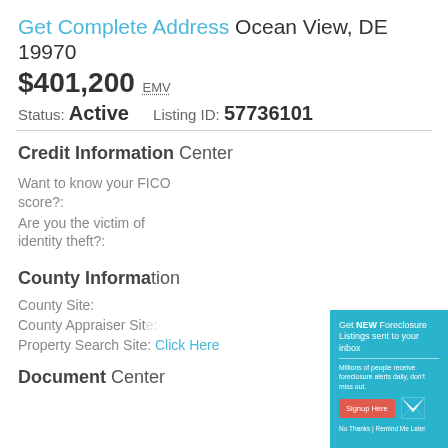Get Complete Address Ocean View, DE 19970
$401,200 EMV
Status: Active   Listing ID: 57736101
Credit Information Center
Want to know your FICO score?:
Are you the victim of identity theft?:
County Information
County Site:
County Appraiser Site:
Property Search Site: Click Here
Document Center
[Figure (infographic): Popup modal overlay with teal background promoting foreclosure listing alerts. Contains title 'Get NEW Foreclosure Listings sent to your inbox', subtitle text 'Millions of people receive foreclosure alerts daily, don't miss out.', a red 'Signup Here' button, a white envelope icon, and links 'No Thanks | Remind Me Later'.]